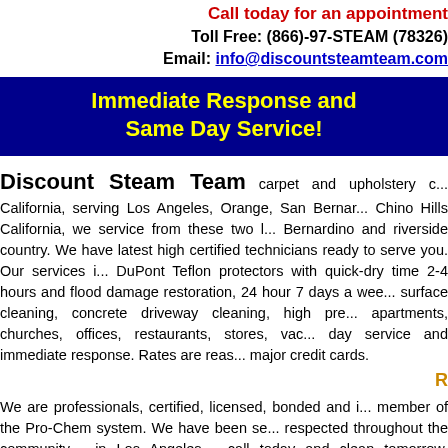Call today for an appointment
Toll Free: (866)-97-STEAM (78326)
Email: info@discountsteamteam.com
Immediate Response and Same Day Service!
Discount Steam Team carpet and upholstery c... California, serving Los Angeles, Orange, San Bernar... Chino Hills California, we service from these two l... Bernardino and riverside country. We have latest high certified technicians ready to serve you. Our services i... DuPont Teflon protectors with quick-dry time 2-4 hours and flood damage restoration, 24 hour 7 days a wee... surface cleaning, concrete driveway cleaning, high pre... apartments, churches, offices, restaurants, stores, vac... day service and immediate response. Rates are reas... major credit cards.
We are professionals, certified, licensed, bonded and i... member of the Pro-Chem system. We have been se... respected throughout the community - in Los Angeles,... call today and clean tomorrow. Professional service d... appointments and arriving on time or your will receiv... website prices are set, so there's no high pressure sa...